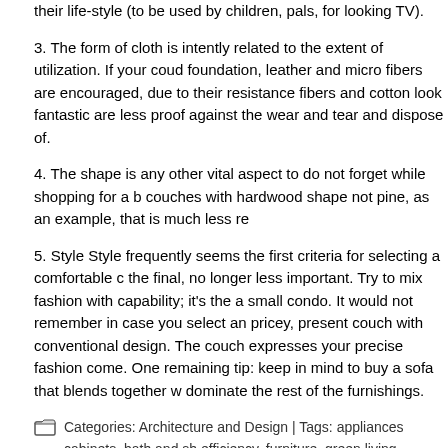their life-style (to be used by children, pals, for looking TV).
3. The form of cloth is intently related to the extent of utilization. If your couch foundation, leather and micro fibers are encouraged, due to their resistance fibers and cotton look fantastic are less proof against the wear and tear and dispose of.
4. The shape is any other vital aspect to do not forget while shopping for a b couches with hardwood shape not pine, as an example, that is much less re
5. Style Style frequently seems the first criteria for selecting a comfortable c the final, no longer less important. Try to mix fashion with capability; it's the a small condo. It would not remember in case you select an pricey, present couch with conventional design. The couch expresses your precise fashion come. One remaining tip: keep in mind to buy a sofa that blends together w dominate the rest of the furnishings.
Categories: Architecture and Design | Tags: appliances cabinets, bath and sh efficiency, furniture, green living, heating and air conditioning, home improve interior design and decorating